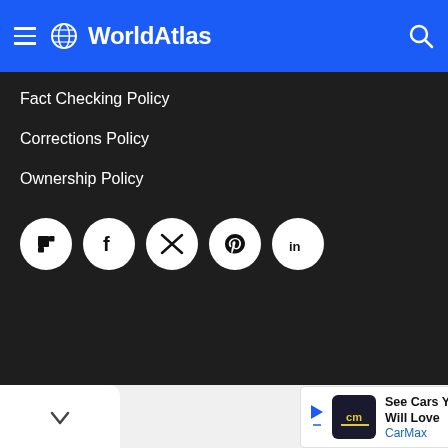WorldAtlas
Fact Checking Policy
Corrections Policy
Ownership Policy
[Figure (infographic): Row of five social media icons (Flipboard, Facebook, Twitter, Pinterest, LinkedIn) as white circles on dark background]
See Cars Your Budget Will Love CarMax